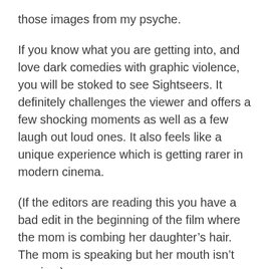those images from my psyche.
If you know what you are getting into, and love dark comedies with graphic violence, you will be stoked to see Sightseers. It definitely challenges the viewer and offers a few shocking moments as well as a few laugh out loud ones. It also feels like a unique experience which is getting rarer in modern cinema.
(If the editors are reading this you have a bad edit in the beginning of the film where the mom is combing her daughter’s hair. The mom is speaking but her mouth isn’t moving.)